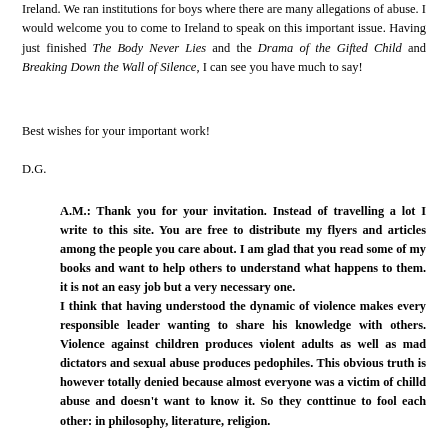Ireland. We ran institutions for boys where there are many allegations of abuse. I would welcome you to come to Ireland to speak on this important issue. Having just finished The Body Never Lies and the Drama of the Gifted Child and Breaking Down the Wall of Silence, I can see you have much to say!
Best wishes for your important work!
D.G.
A.M.: Thank you for your invitation. Instead of travelling a lot I write to this site. You are free to distribute my flyers and articles among the people you care about. I am glad that you read some of my books and want to help others to understand what happens to them. it is not an easy job but a very necessary one. I think that having understood the dynamic of violence makes every responsible leader wanting to share his knowledge with others. Violence against children produces violent adults as well as mad dictators and sexual abuse produces pedophiles. This obvious truth is however totally denied because almost everyone was a victim of chilld abuse and doesn't want to know it. So they conttinue to fool each other: in philosophy, literature, religion.